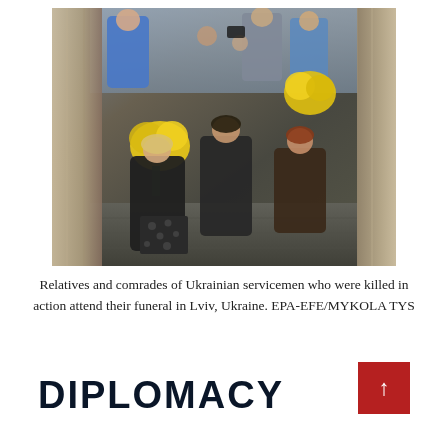[Figure (photo): Relatives and comrades of Ukrainian servicemen kneeling and grieving in a street in Lviv, Ukraine, holding yellow flowers. People in the background include a man in a blue shirt. Stone statues or pillars are visible on the left and right edges of the frame.]
Relatives and comrades of Ukrainian servicemen who were killed in action attend their funeral in Lviv, Ukraine. EPA-EFE/MYKOLA TYS
DIPLOMACY